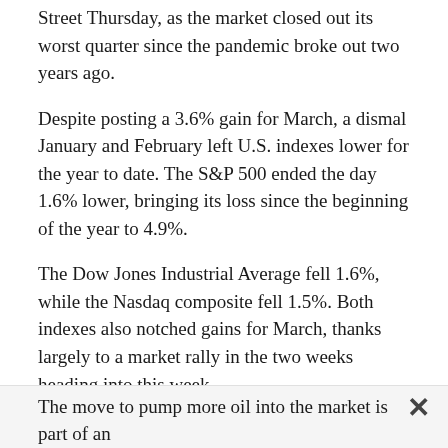Street Thursday, as the market closed out its worst quarter since the pandemic broke out two years ago.
Despite posting a 3.6% gain for March, a dismal January and February left U.S. indexes lower for the year to date. The S&P 500 ended the day 1.6% lower, bringing its loss since the beginning of the year to 4.9%.
The Dow Jones Industrial Average fell 1.6%, while the Nasdaq composite fell 1.5%. Both indexes also notched gains for March, thanks largely to a market rally in the two weeks heading into this week.
Oil prices fell as President Joe Biden ordered the release of up to 1 million barrels of oil per day from the nation’s strategic petroleum reserve.
The move to pump more oil into the market is part of an